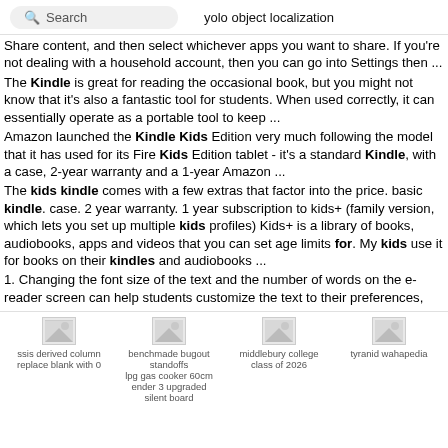Search   yolo object localization
Share content, and then select whichever apps you want to share. If you're not dealing with a household account, then you can go into Settings then ...
The Kindle is great for reading the occasional book, but you might not know that it's also a fantastic tool for students. When used correctly, it can essentially operate as a portable tool to keep ...
Amazon launched the Kindle Kids Edition very much following the model that it has used for its Fire Kids Edition tablet - it's a standard Kindle, with a case, 2-year warranty and a 1-year Amazon ...
The kids kindle comes with a few extras that factor into the price. basic kindle. case. 2 year warranty. 1 year subscription to kids+ (family version, which lets you set up multiple kids profiles) Kids+ is a library of books, audiobooks, apps and videos that you can set age limits for. My kids use it for books on their kindles and audiobooks ...
1. Changing the font size of the text and the number of words on the e-reader screen can help students customize the text to their preferences,
[Figure (screenshot): Four thumbnail images with captions: 'ssis derived column replace blank with 0', 'benchmade bugout standoffs / lpg gas cooker 60cm ender 3 upgraded silent board', 'middlebury college class of 2026', 'tyranid wahapedia']